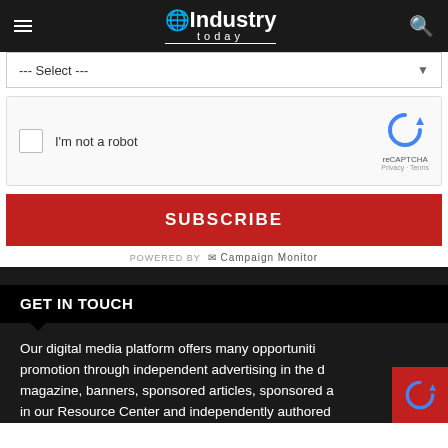Industry Today
--- Select ---
[Figure (other): reCAPTCHA widget with checkbox labeled I'm not a robot]
SUBSCRIBE
POWERED BY Campaign Monitor
GET IN TOUCH
Our digital media platform offers many opportuniti… promotion through independent advertising in the d… magazine, banners, sponsored articles, sponsored a… in our Resource Center and independently authored